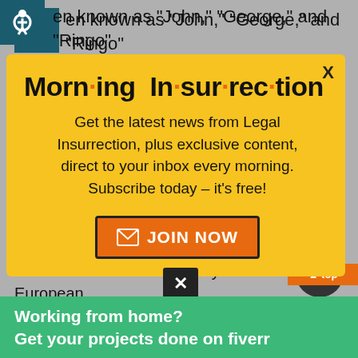en known as “John,” “George,” and “Ringo” d formed a special kidnapping gang that may have targeted Westerners like Foley. The paper reported that the hostages regarded
[Figure (infographic): Morning Insurrection newsletter signup modal with yellow background. Title reads 'Morn·ing In·sur·rec·tion' in bold black with orange dots. Body text: 'Get the latest news from Legal Insurrection, plus exclusive content, direct to your inbox every morning. Subscribe today – it’s free!' Orange JOIN NOW button with envelope icon. X close button top right.]
dollars from ransoms paid by European countries, enough to “return to Kuwait or Qatar”
[Figure (infographic): Fiverr green banner advertisement: 'Working from home? Get your projects done on fiverr']